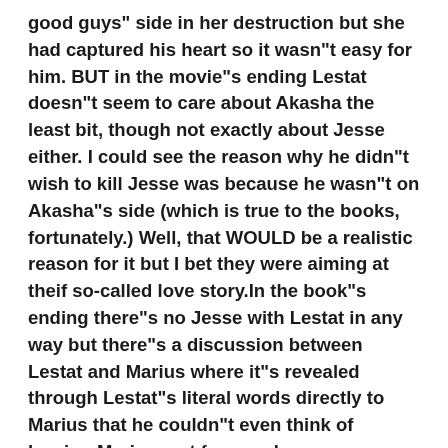good guys" side in her destruction but she had captured his heart so it wasn"t easy for him. BUT in the movie"s ending Lestat doesn"t seem to care about Akasha the least bit, though not exactly about Jesse either. I could see the reason why he didn"t wish to kill Jesse was because he wasn"t on Akasha"s side (which is true to the books, fortunately.) Well, that WOULD be a realistic reason for it but I bet they were aiming at theif so-called love story.In the book"s ending there"s no Jesse with Lestat in any way but there"s a discussion between Lestat and Marius where it"s revealed through Lestat"s literal words directly to Marius that he couldn"t even think of leaving Marius, not for very long anyway. And Marius at one point firmly forbids Lestat from meddling with the Talamasca.BUT in the movie"s ending In the very end Lestat and Jesse walk out from Talamasca house, hand in hand